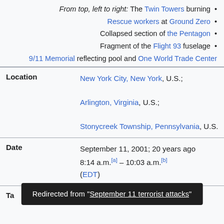From top, left to right: The Twin Towers burning • Rescue workers at Ground Zero • Collapsed section of the Pentagon • Fragment of the Flight 93 fuselage • 9/11 Memorial reflecting pool and One World Trade Center
| Label | Value |
| --- | --- |
| Location | New York City, New York, U.S.; Arlington, Virginia, U.S.; Stonycreek Township, Pennsylvania, U.S. |
| Date | September 11, 2001; 20 years ago 8:14 a.m.[a] – 10:03 a.m.[b] (EDT) |
| Ta | (AA 11 and UA 175) |
Redirected from "September 11 terrorist attacks"